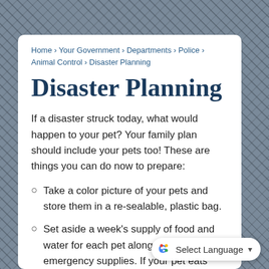Home › Your Government › Departments › Police › Animal Control › Disaster Planning
Disaster Planning
If a disaster struck today, what would happen to your pet? Your family plan should include your pets too! These are things you can do now to prepare:
Take a color picture of your pets and store them in a re-sealable, plastic bag.
Set aside a week's supply of food and water for each pet along with your own emergency supplies. If your pet eats canned food, get the kind with a pull-off lid. Set asi... them from and store small animal food in plastic.